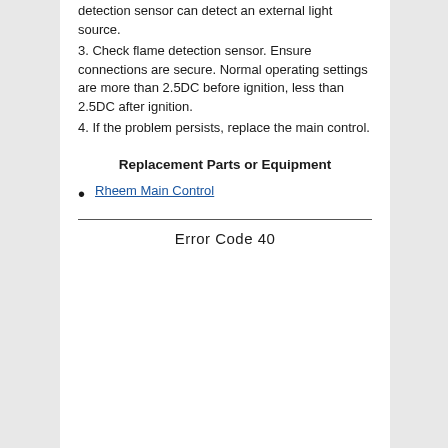detection sensor can detect an external light source.
3. Check flame detection sensor. Ensure connections are secure. Normal operating settings are more than 2.5DC before ignition, less than 2.5DC after ignition.
4. If the problem persists, replace the main control.
Replacement Parts or Equipment
Rheem Main Control
Error Code 40